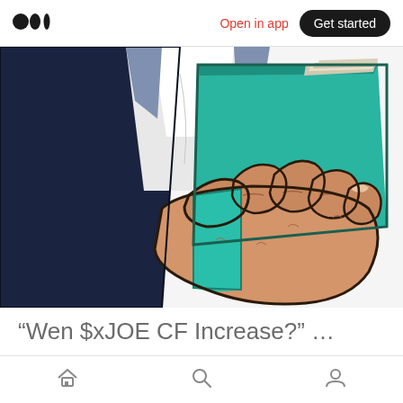Medium logo | Open in app | Get started
[Figure (illustration): Cartoon illustration of a hand holding an open teal/green book, with the figure wearing a dark navy vest over a white shirt, shown from the torso down.]
“Wen $xJOE CF Increase?” … soon
Navigation bar with home, search, and profile icons